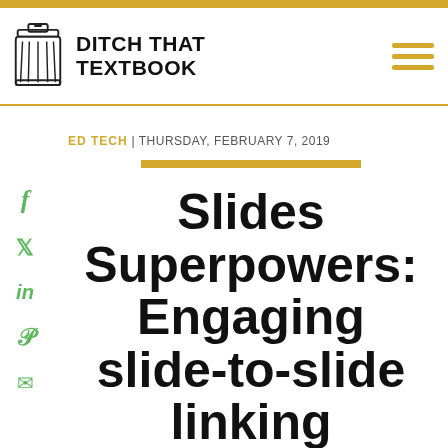DITCH THAT TEXTBOOK
ED TECH | THURSDAY, FEBRUARY 7, 2019
Slides Superpowers: Engaging slide-to-slide linking